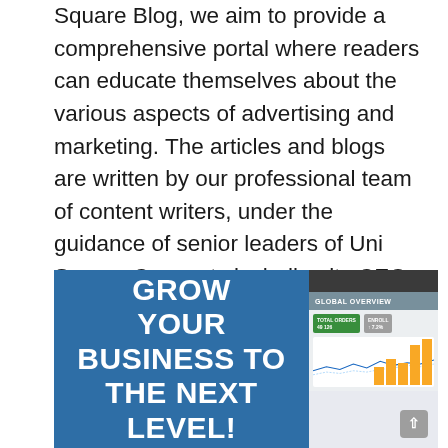Square Blog, we aim to provide a comprehensive portal where readers can educate themselves about the various aspects of advertising and marketing. The articles and blogs are written by our professional team of content writers, under the guidance of senior leaders of Uni Square Concepts including its CEO, Uday Sonthalia.
[Figure (illustration): Promotional image with blue background on left showing bold white text 'GROW YOUR BUSINESS TO THE NEXT LEVEL' and a screenshot of a business analytics dashboard on the right with charts and graphs.]